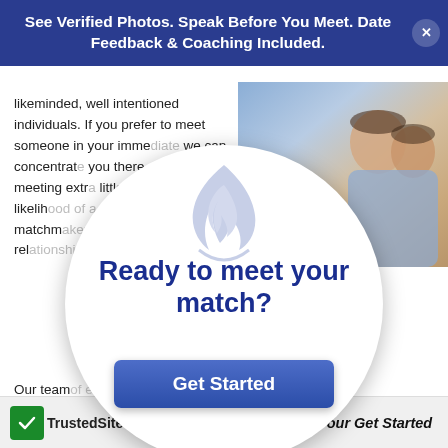See Verified Photos. Speak Before You Meet. Date Feedback & Coaching Included.
likeminded, well intentioned individuals. If you prefer to meet someone in your imme... we can concentrat... you there. If yo... meeting extr... little furthe... the likelih... match. N... matchm... the ideal rel...
[Figure (photo): Couple photo in top-right background]
[Figure (infographic): White circular overlay popup with flame logo, heading 'Ready to meet your match?' and 'Get Started' button]
Our team... y, conduct in... sure our clients have a... d a personally prep... match and you speak before you m... so take the time you need to explore the p... roduction.
TrustedSite ave in the Georgia complete our Get Started